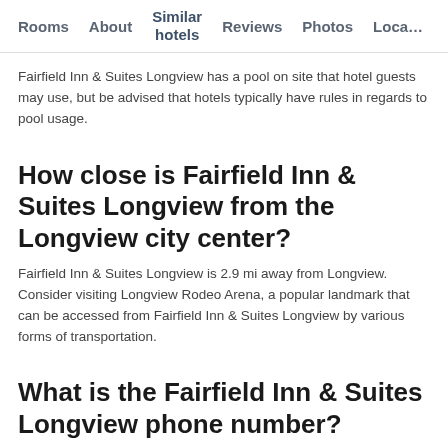Rooms   About   Similar hotels   Reviews   Photos   Loca…
Fairfield Inn & Suites Longview has a pool on site that hotel guests may use, but be advised that hotels typically have rules in regards to pool usage.
How close is Fairfield Inn & Suites Longview from the Longview city center?
Fairfield Inn & Suites Longview is 2.9 mi away from Longview. Consider visiting Longview Rodeo Arena, a popular landmark that can be accessed from Fairfield Inn & Suites Longview by various forms of transportation.
What is the Fairfield Inn & Suites Longview phone number?
You can reach the front desk of Fairfield Inn & Suites Longview at +1 …